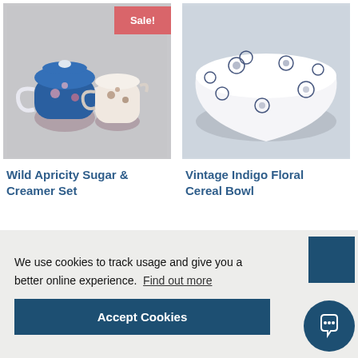[Figure (photo): Floral sugar and creamer set on grey background with Sale! badge]
[Figure (photo): White bowl with blue floral pattern on light blue background]
Wild Apricity Sugar & Creamer Set
Vintage Indigo Floral Cereal Bowl
We use cookies to track usage and give you a better online experience. Find out more
Accept Cookies